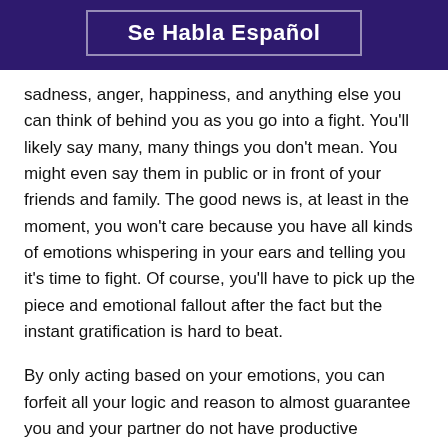Se Habla Español
sadness, anger, happiness, and anything else you can think of behind you as you go into a fight. You'll likely say many, many things you don't mean. You might even say them in public or in front of your friends and family. The good news is, at least in the moment, you won't care because you have all kinds of emotions whispering in your ears and telling you it's time to fight. Of course, you'll have to pick up the piece and emotional fallout after the fact but the instant gratification is hard to beat.
By only acting based on your emotions, you can forfeit all your logic and reason to almost guarantee you and your partner do not have productive conversations. If you want to screw up your marriage, you shouldn't be productively working towards anything, especially